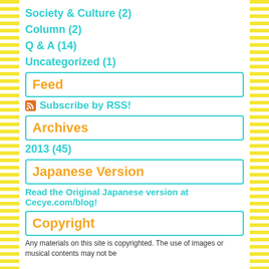Society & Culture (2)
Column (2)
Q & A (14)
Uncategorized (1)
Feed
Subscribe by RSS!
Archives
2013 (45)
Japanese Version
Read the Original Japanese version at Cecye.com/blog!
Copyright
Any materials on this site is copyrighted. The use of images or musical contents may not be